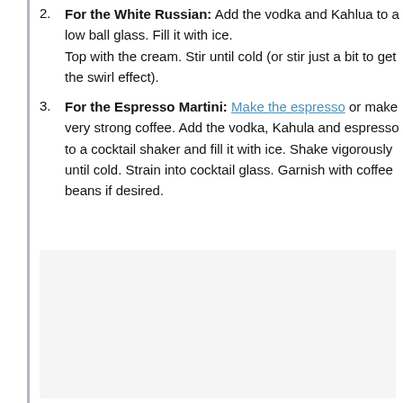For the White Russian: Add the vodka and Kahlua to a low ball glass. Fill it with ice. Top with the cream. Stir until cold (or stir just a bit to get the swirl effect).
For the Espresso Martini: Make the espresso or make very strong coffee. Add the vodka, Kahula and espresso to a cocktail shaker and fill it with ice. Shake vigorously until cold. Strain into cocktail glass. Garnish with coffee beans if desired.
[Figure (photo): Image placeholder area with light gray background and three small gray dots indicating loading or image content]